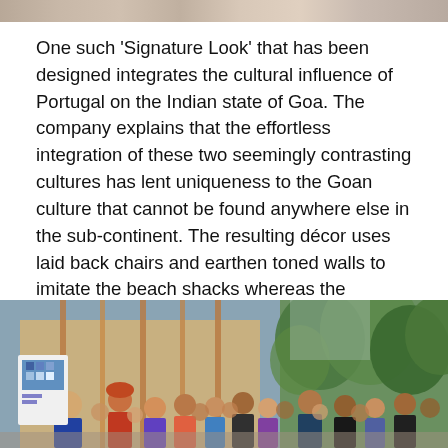[Figure (photo): Top portion of a photo showing people, partially cropped at the top of the page]
One such ‘Signature Look’ that has been designed integrates the cultural influence of Portugal on the Indian state of Goa. The company explains that the effortless integration of these two seemingly contrasting cultures has lent uniqueness to the Goan culture that cannot be found anywhere else in the sub-continent. The resulting décor uses laid back chairs and earthen toned walls to imitate the beach shacks whereas the accessories echo the fluidity and tranquillity of the sea. The space embodies the essence of Goan culture and creates an environment one would love to come home to every day.
[Figure (photo): Interior photo of what appears to be a design showroom or store with people attending a presentation; a presenter stands at a display board while a crowd of attendees watches, with large glass windows showing trees outside]